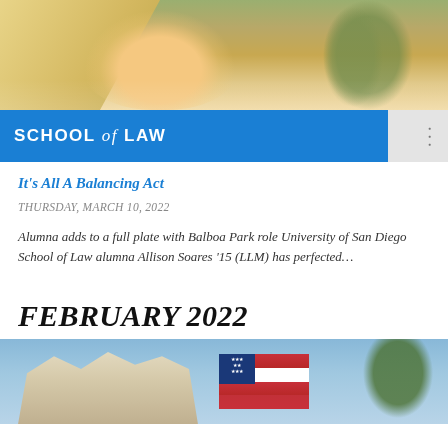[Figure (photo): Portrait photo of a blonde woman, partially cropped, with trees in background]
SCHOOL of LAW
It's All A Balancing Act
THURSDAY, MARCH 10, 2022
Alumna adds to a full plate with Balboa Park role University of San Diego School of Law alumna Allison Soares '15 (LLM) has perfected…
FEBRUARY 2022
[Figure (photo): Photo of an American flag in front of a building, outdoors scene]